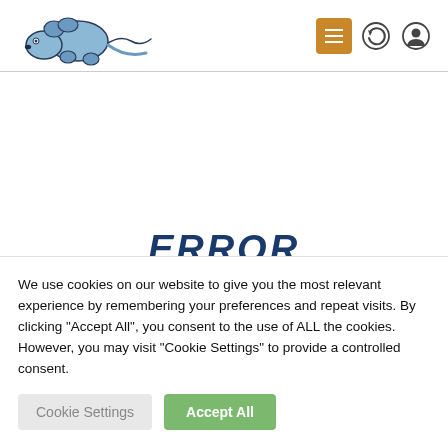[Figure (logo): Blue cartoon mouse logo facing left with a long curly tail]
[Figure (infographic): Navigation icons: orange hamburger menu button, circular refresh icon, user profile icon]
ERROR
[Figure (infographic): Three dark navy blue circles partially visible, likely forming a '404' error code]
We use cookies on our website to give you the most relevant experience by remembering your preferences and repeat visits. By clicking "Accept All", you consent to the use of ALL the cookies. However, you may visit "Cookie Settings" to provide a controlled consent.
Cookie Settings | Accept All